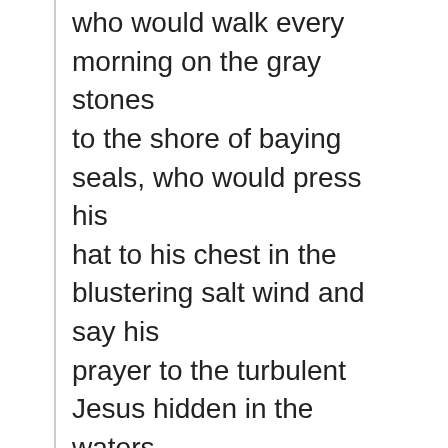who would walk every morning on the gray stones to the shore of baying seals, who would press his hat to his chest in the blustering salt wind and say his prayer to the turbulent Jesus hidden in the waters. And I think of the story of the storm and the people waking and seeing the